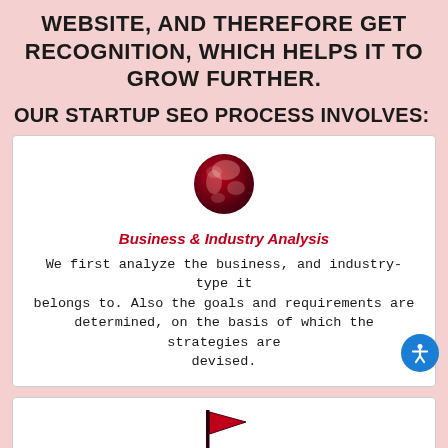WEBSITE, AND THEREFORE GET RECOGNITION, WHICH HELPS IT TO GROW FURTHER.
OUR STARTUP SEO PROCESS INVOLVES:
[Figure (illustration): Red and dark red globe icon representing global/world wide web]
Business & Industry Analysis
We first analyze the business, and industry-type it belongs to. Also the goals and requirements are determined, on the basis of which the strategies are devised.
[Figure (illustration): Dark red flag icon representing milestone or goal]